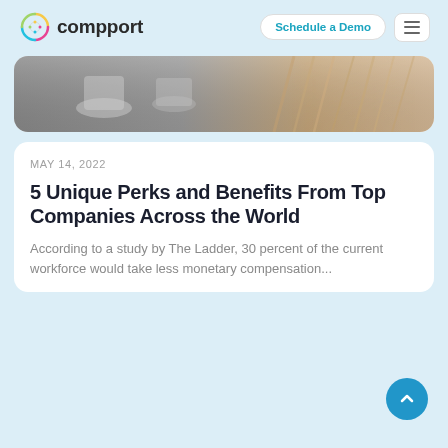[Figure (logo): Compport logo with colorful circular icon and text 'compport']
Schedule a Demo
[Figure (photo): Partial photo of a table setting with cups and straw-like objects in black and white and warm tones]
MAY 14, 2022
5 Unique Perks and Benefits From Top Companies Across the World
According to a study by The Ladder, 30 percent of the current workforce would take less monetary compensation...